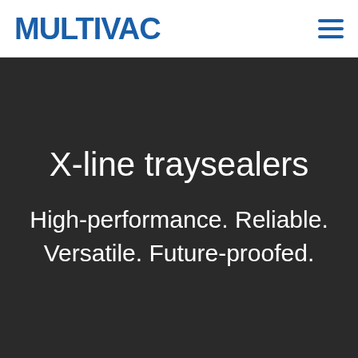[Figure (logo): MULTIVAC company logo in blue uppercase bold letters, with hamburger menu icon on the right]
X-line traysealers
High-performance. Reliable. Versatile. Future-proofed.